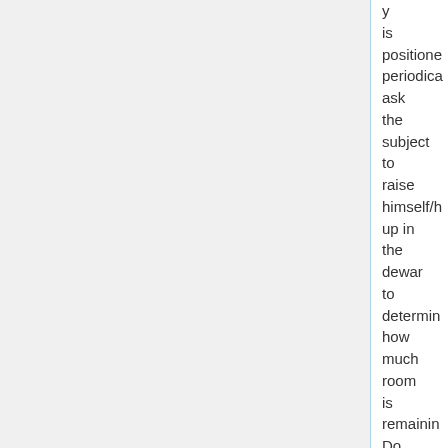y is positioned periodica ask the subject to raise himself/h up in the dewar to determin how much room is remainin Do